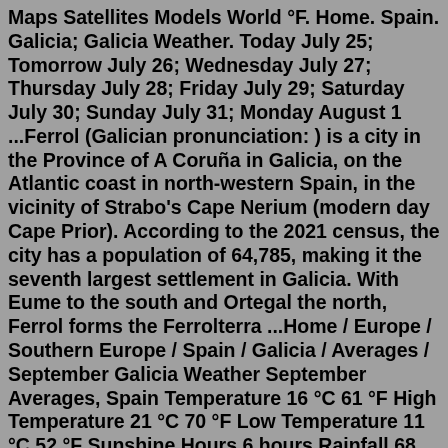Maps Satellites Models World °F. Home. Spain. Galicia; Galicia Weather. Today July 25; Tomorrow July 26; Wednesday July 27; Thursday July 28; Friday July 29; Saturday July 30; Sunday July 31; Monday August 1 ...Ferrol (Galician pronunciation: ) is a city in the Province of A Coruña in Galicia, on the Atlantic coast in north-western Spain, in the vicinity of Strabo's Cape Nerium (modern day Cape Prior). According to the 2021 census, the city has a population of 64,785, making it the seventh largest settlement in Galicia. With Eume to the south and Ortegal the north, Ferrol forms the Ferrolterra ...Home / Europe / Southern Europe / Spain / Galicia / Averages / September Galicia Weather September Averages, Spain Temperature 16 °C 61 °F High Temperature 21 °C 70 °F Low Temperature 11 °C 52 °F Sunshine Hours 6 hours Rainfall 68 mm Rainfall Days 8 days September October November December January February March April May June July AugustSeptember Weather in A Coruña Spain. Daily high temperatures decrease by 4°F, from 74°F to 70°F.